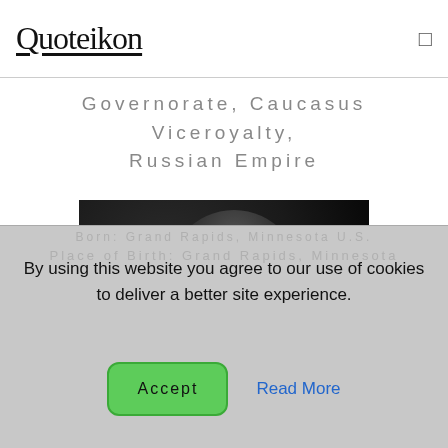Quoteikon
Governorate, Caucasus Viceroyalty, Russian Empire
[Figure (photo): Black and white portrait photograph of Judy Garland]
Judy Garland
By using this website you agree to our use of cookies to deliver a better site experience.
Accept  Read More